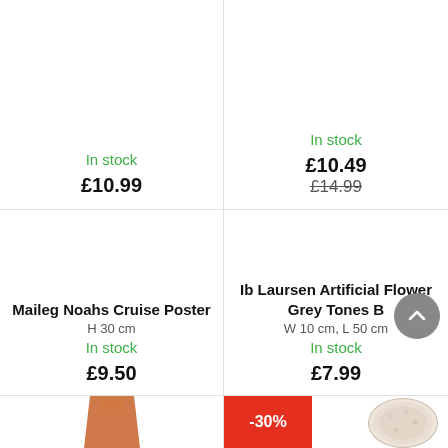In stock
£10.99
In stock
£10.49
£14.99
[Figure (photo): Product image area (blank/white) for Maileg Noahs Cruise Poster]
Maileg Noahs Cruise Poster
H 30 cm
In stock
£9.50
[Figure (photo): Product image area (blank/white) for Ib Laursen Artificial Flower Grey Tones B]
Ib Laursen Artificial Flower Grey Tones B
W 10 cm, L 50 cm
In stock
£7.99
[Figure (photo): Partial product thumbnail, orange/brown coloured item at bottom left]
-30%
[Figure (photo): Partial product thumbnail, round light-coloured item at bottom right]